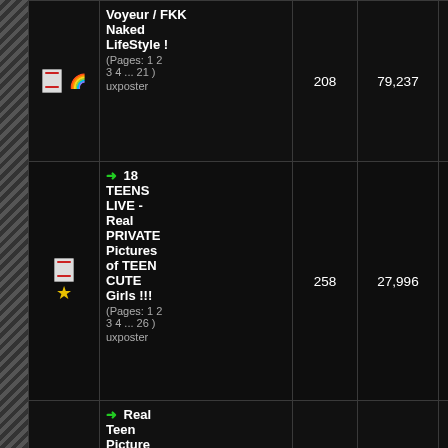| Icons | Title | Replies | Views |  | Date |
| --- | --- | --- | --- | --- | --- |
| [doc][rainbow] | Voyeur / FKK Naked LifeStyle !
(Pages: 1 2 3 4 ... 21 )
uxposter | 208 | 79,237 |  | 03-04-2022,
Last Post |
| [doc][star] | → 18 TEENS LIVE - Real PRIVATE Pictures of TEEN CUTE Girls !!!
(Pages: 1 2 3 4 ... 26 )
uxposter | 258 | 27,996 |  | 03-04-2022,
Last Post |
|  | → Real Teen Picture Sets. Perfect |  |  |  |  |